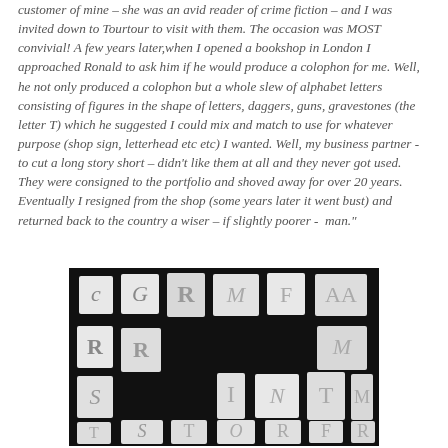customer of mine – she was an avid reader of crime fiction – and I was invited down to Tourtour to visit with them. The occasion was MOST convivial! A few years later,when I opened a bookshop in London I approached Ronald to ask him if he would produce a colophon for me. Well, he not only produced a colophon but a whole slew of alphabet letters consisting of figures in the shape of letters, daggers, guns, gravestones (the letter T) which he suggested I could mix and match to use for whatever purpose (shop sign, letterhead etc etc) I wanted. Well, my business partner - to cut a long story short – didn't like them at all and they never got used. They were consigned to the portfolio and shoved away for over 20 years.  Eventually I resigned from the shop (some years later it went bust) and returned back to the country a wiser – if slightly poorer -  man."
[Figure (photo): Black and white photograph showing a collection of decorative alphabet letters on a dark background. The letters appear to be cut-out paper or card shapes featuring crime-themed illustrations including figures, daggers, guns, and gravestones. Letters visible include C, G, R, M, F, A, R, R, S, I, N, T, M, T, S, T, O, R, F, R and others arranged in rows.]